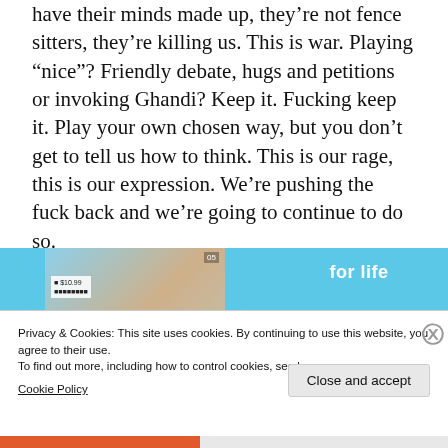have their minds made up, they're not fence sitters, they're killing us. This is war. Playing “nice”? Friendly debate, hugs and petitions or invoking Ghandi? Keep it. Fucking keep it. Play your own chosen way, but you don’t get to tell us how to think. This is our rage, this is our expression. We’re pushing the fuck back and we’re going to continue to do so.
[Figure (screenshot): Screenshot of a website with blue image tiles including a palm tree beach photo and blue tile with text 'for life']
Privacy & Cookies: This site uses cookies. By continuing to use this website, you agree to their use.
To find out more, including how to control cookies, see here:
Cookie Policy
Close and accept